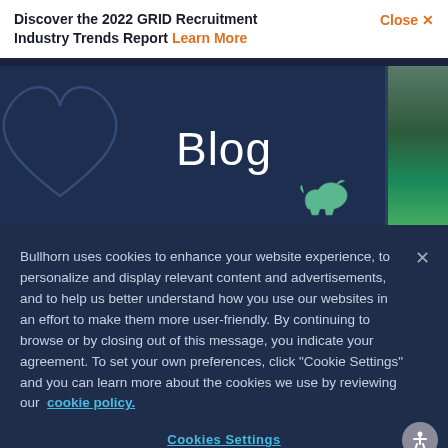Discover the 2022 GRID Recruitment Industry Trends Report Learn More
Close X
Blog
Bullhorn uses cookies to enhance your website experience, to personalize and display relevant content and advertisements, and to help us better understand how you use our websites in an effort to make them more user-friendly. By continuing to browse or by closing out of this message, you indicate your agreement. To set your own preferences, click "Cookie Settings" and you can learn more about the cookies we use by reviewing our cookie policy.
Cookies Settings